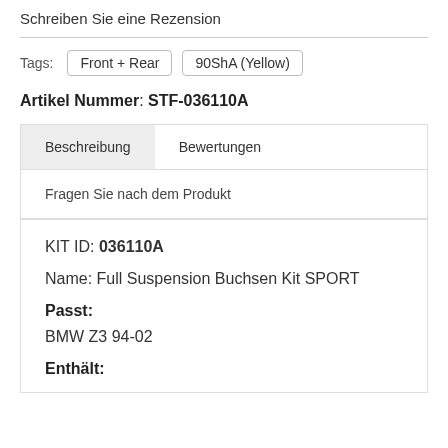Schreiben Sie eine Rezension
Tags: Front + Rear  90ShA (Yellow)
Artikel Nummer: STF-036110A
Beschreibung
Bewertungen
Fragen Sie nach dem Produkt
KIT ID: 036110A
Name: Full Suspension Buchsen Kit SPORT
Passt:
BMW Z3 94-02
Enthält: